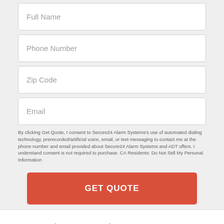Full Name
Phone Number
Zip Code
Email
By clicking Get Quote, I consent to Secure24 Alarm Systems's use of automated dialing technology, prerecorded/artificial voice, email, or text messaging to contact me at the phone number and email provided about Secure24 Alarm Systems and ADT offers. I understand consent is not required to purchase. CA Residents: Do Not Sell My Personal Information
GET QUOTE
American Fork, UT Home